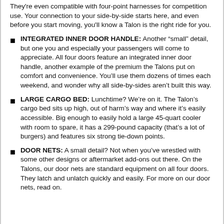They're even compatible with four-point harnesses for competition use. Your connection to your side-by-side starts here, and even before you start moving, you'll know a Talon is the right ride for you.
INTEGRATED INNER DOOR HANDLE: Another “small” detail, but one you and especially your passengers will come to appreciate. All four doors feature an integrated inner door handle, another example of the premium the Talons put on comfort and convenience. You’ll use them dozens of times each weekend, and wonder why all side-by-sides aren’t built this way.
LARGE CARGO BED: Lunchtime? We’re on it. The Talon’s cargo bed sits up high, out of harm’s way and where it’s easily accessible. Big enough to easily hold a large 45-quart cooler with room to spare, it has a 299-pound capacity (that’s a lot of burgers) and features six strong tie-down points.
DOOR NETS: A small detail? Not when you’ve wrestled with some other designs or aftermarket add-ons out there. On the Talons, our door nets are standard equipment on all four doors. They latch and unlatch quickly and easily. For more on our door nets, read on.